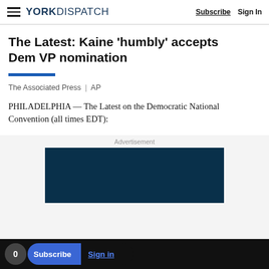YORK DISPATCH | Subscribe | Sign In
The Latest: Kaine ‘humbly’ accepts Dem VP nomination
The Associated Press | AP
PHILADELPHIA — The Latest on the Democratic National Convention (all times EDT):
[Figure (other): Advertisement placeholder block, dark navy blue rectangle]
0 Subscribe Sign in